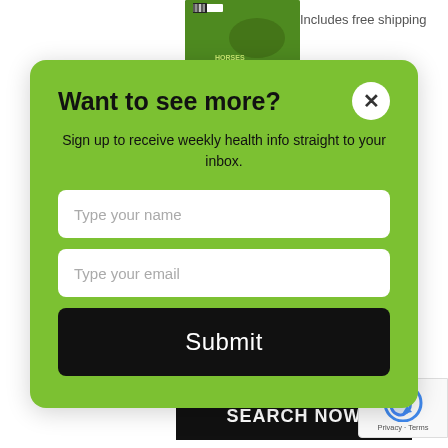[Figure (photo): Magazine cover image partially visible at top center]
Includes free shipping
Want to see more?
Sign up to receive weekly health info straight to your inbox.
Type your name
Type your email
Submit
guaranteed quality supplements for your horse and pets.
SEARCH NOW
[Figure (logo): reCAPTCHA badge with Privacy and Terms text]